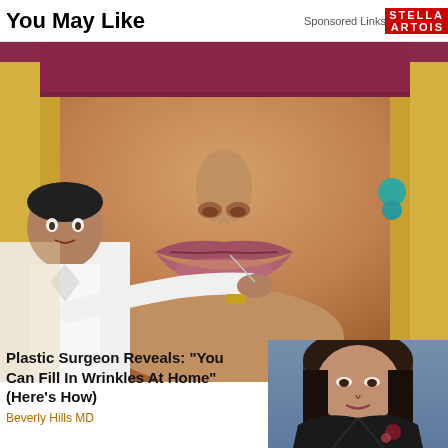You May Like    Sponsored Links by Taboola
[Figure (photo): Close-up of a woman's face focusing on lips and nose, with a man in white shirt appearing to inject or treat the lip area, and a maroon blindfold/mask over the woman's eyes at top]
Plastic Surgeon Reveals: "You Can Fill In Wrinkles At Home" (Here's How)
Beverly Hills MD
[Figure (photo): Partial image of a woman with dark hair wearing a black leather jacket, appearing in the bottom right corner]